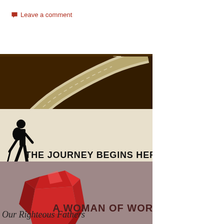Leave a comment
[Figure (logo): Journey Through Torah banner: brown background with winding road graphic and text 'JOURNEY THROUGH TORAH']
[Figure (logo): The Journey Begins Here banner: cream background with hiker silhouette and text 'THE JOURNEY BEGINS HERE']
[Figure (logo): A Woman of Worth banner: taupe background with red gemstone graphic and text 'A WOMAN OF WORTH']
Our Righteous Fathers